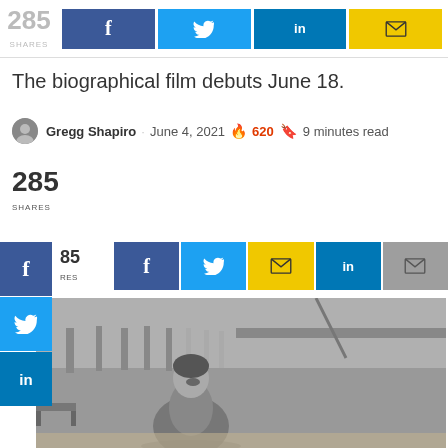[Figure (infographic): Social share bar at top: 285 SHARES, Facebook, Twitter, LinkedIn, Email buttons]
The biographical film debuts June 18.
Gregg Shapiro · June 4, 2021 🔥 620 🔖 9 minutes read
285 SHARES
[Figure (infographic): Sidebar share buttons: Facebook, Twitter, LinkedIn; and horizontal share bar with Facebook, Twitter, Email, LinkedIn, Email(gray)]
[Figure (photo): Black and white photograph of a person laughing, sitting on a rooftop or outdoor stage area with architectural railings visible in the background]